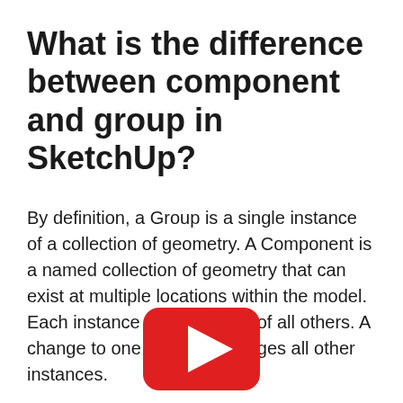What is the difference between component and group in SketchUp?
By definition, a Group is a single instance of a collection of geometry. A Component is a named collection of geometry that can exist at multiple locations within the model. Each instance is a repetition of all others. A change to one instance changes all other instances.
[Figure (other): YouTube play button icon — red rounded rectangle with white triangle play arrow]